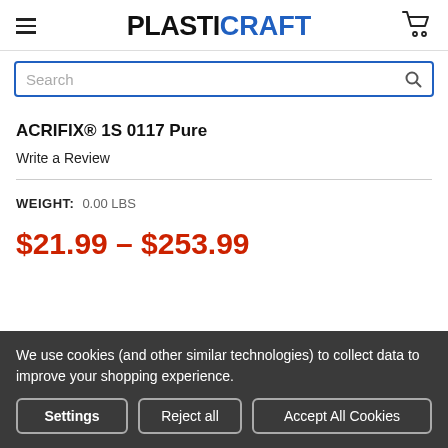PLASTICRAFT
Search
ACRIFIX® 1S 0117 Pure
Write a Review
WEIGHT: 0.00 LBS
$21.99 – $253.99
We use cookies (and other similar technologies) to collect data to improve your shopping experience.
Settings  Reject all  Accept All Cookies